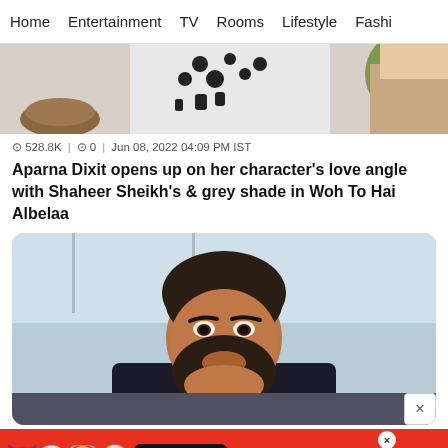Home | Entertainment | TV | Rooms | Lifestyle | Fashi
[Figure (photo): Top portion of article — partial photo showing two people, one in a black and white patterned top]
⊙ 528.8K | ⊙ 0 | Jun 08, 2022 04:09 PM IST
Aparna Dixit opens up on her character's love angle with Shaheer Sheikh's & grey shade in Woh To Hai Albelaa
[Figure (photo): Close-up portrait photo of a man with dark hair and beard, wearing a dark shirt, photographed indoors near a window]
[Figure (screenshot): Advertisement banner for BitLife game showing emoji characters (devil, woman, angel) and text REAL CHOICES on red background]